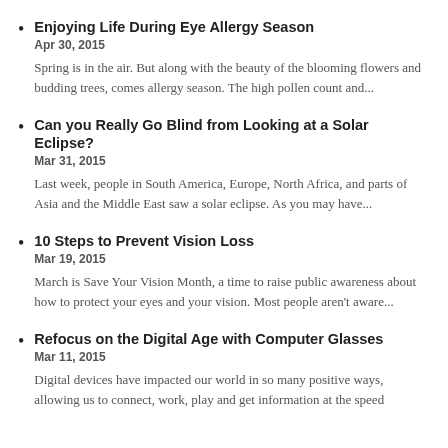Enjoying Life During Eye Allergy Season
Apr 30, 2015
Spring is in the air. But along with the beauty of the blooming flowers and budding trees, comes allergy season. The high pollen count and...
Can you Really Go Blind from Looking at a Solar Eclipse?
Mar 31, 2015
Last week, people in South America, Europe, North Africa, and parts of Asia and the Middle East saw a solar eclipse. As you may have...
10 Steps to Prevent Vision Loss
Mar 19, 2015
March is Save Your Vision Month, a time to raise public awareness about how to protect your eyes and your vision. Most people aren't aware...
Refocus on the Digital Age with Computer Glasses
Mar 11, 2015
Digital devices have impacted our world in so many positive ways, allowing us to connect, work, play and get information at the speed